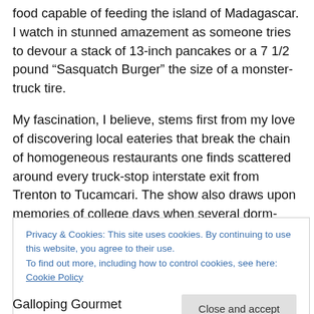food capable of feeding the island of Madagascar. I watch in stunned amazement as someone tries to devour a stack of 13-inch pancakes or a 7 1/2 pound “Sasquatch Burger” the size of a monster-truck tire.
My fascination, I believe, stems first from my love of discovering local eateries that break the chain of homogeneous restaurants one finds scattered around every truck-stop interstate exit from Trenton to Tucamcari. The show also draws upon memories of college days when several dorm-room buddies and I attempted to drive
Privacy & Cookies: This site uses cookies. By continuing to use this website, you agree to their use.
To find out more, including how to control cookies, see here: Cookie Policy
Close and accept
Galloping Gourmet